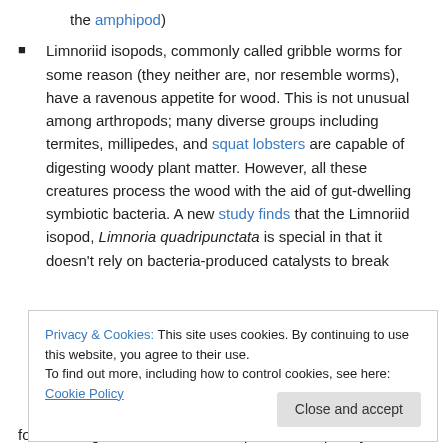the amphipod)
Limnoriid isopods, commonly called gribble worms for some reason (they neither are, nor resemble worms), have a ravenous appetite for wood. This is not unusual among arthropods; many diverse groups including termites, millipedes, and squat lobsters are capable of digesting woody plant matter. However, all these creatures process the wood with the aid of gut-dwelling symbiotic bacteria. A new study finds that the Limnoriid isopod, Limnoria quadripunctata is special in that it doesn't rely on bacteria-produced catalysts to break
Privacy & Cookies: This site uses cookies. By continuing to use this website, you agree to their use.
To find out more, including how to control cookies, see here: Cookie Policy
for wood digestion in Limnoriid isopods is completely